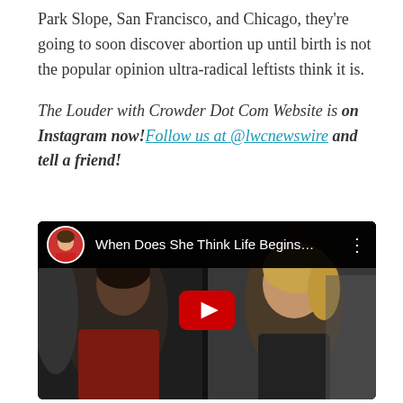Park Slope, San Francisco, and Chicago, they're going to soon discover abortion up until birth is not the popular opinion ultra-radical leftists think it is.
The Louder with Crowder Dot Com Website is on Instagram now! Follow us at @lwcnewswire and tell a friend!
[Figure (screenshot): YouTube video embed showing title 'When Does She Think Life Begins...' with a channel avatar (man in red shirt), and thumbnail showing a man and woman in an outdoor scene, with a YouTube play button overlay.]